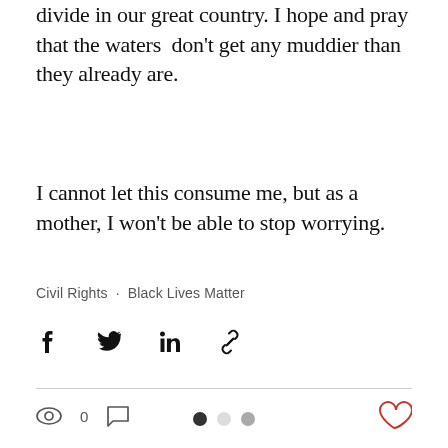divide in our great country. I hope and pray that the waters  don't get any muddier than they already are.
I cannot let this consume me, but as a mother, I won't be able to stop worrying.
Civil Rights  ·  Black Lives Matter
[Figure (infographic): Social share icons: Facebook, Twitter, LinkedIn, Link]
[Figure (infographic): Stats bar: eye icon with 0 views, comment bubble icon, heart/like icon on the right]
[Figure (infographic): Three pagination dots: filled black, light gray, medium gray]